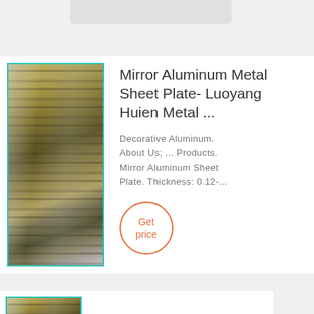[Figure (photo): Photo of stacked mirror aluminum metal sheets with green-gold layered pattern, wrapped in plastic]
Mirror Aluminum Metal Sheet Plate- Luoyang Huien Metal ...
Decorative Aluminum. About Us; ... Products. Mirror Aluminum Sheet Plate. Thickness: 0.12-...
Get price
[Figure (photo): Photo of mirror aluminum metal sheets, partial view]
Mirror